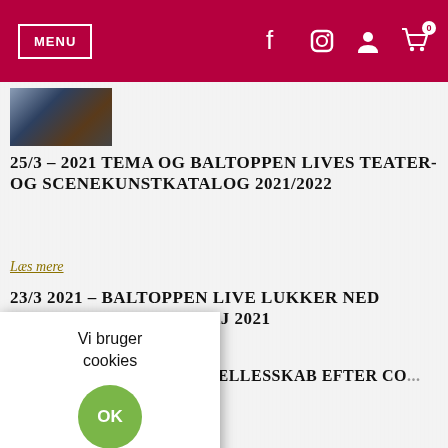MENU
25/3 – 2021 TEMA OG BALTOPPEN LIVES TEATER- OG SCENEKUNSTKATALOG 2021/2022
Læs mere
23/3 2021 – BALTOPPEN LIVE LUKKER NED INDTIL OG MED D. 5 MAJ 2021
Læs mere
20... SMIL OG FÆLLESSKAB EFTER CO... EDLUKNINGEN
Læs mere
Vi bruger cookies
OK
Reje
Læs mere